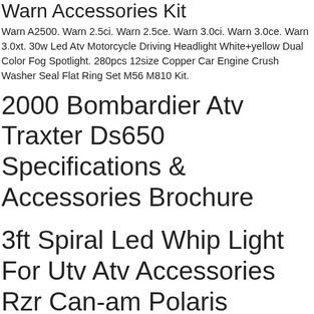Warn Accessories Kit
Warn A2500. Warn 2.5ci. Warn 2.5ce. Warn 3.0ci. Warn 3.0ce. Warn 3.0xt. 30w Led Atv Motorcycle Driving Headlight White+yellow Dual Color Fog Spotlight. 280pcs 12size Copper Car Engine Crush Washer Seal Flat Ring Set M56 M810 Kit.
2000 Bombardier Atv Traxter Ds650 Specifications & Accessories Brochure
3ft Spiral Led Whip Light For Utv Atv Accessories Rzr Can-am Polaris Antenna Us
Why Shop In Our Store Located In California, You Can Recieve Your Item Very Soon. Professional Car Lighting Manufacturer Since 2003. Devoted Bringing The The Needing...